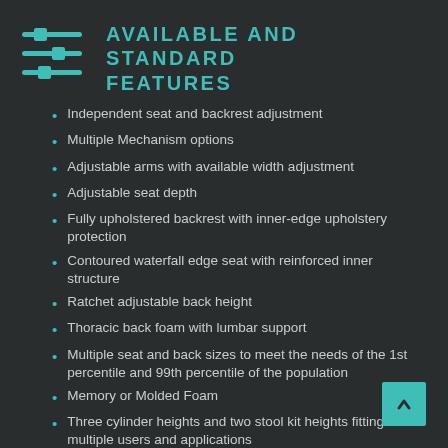AVAILABLE AND STANDARD FEATURES
Independent seat and backrest adjustment
Multiple Mechanism options
Adjustable arms with available width adjustment
Adjustable seat depth
Fully upholstered backrest with inner-edge upholstery protection
Contoured waterfall edge seat with reinforced inner structure
Ratchet adjustable back height
Thoracic back foam with lumbar support
Multiple seat and back sizes to meet the needs of the 1st percentile and 99th percentile of the population
Memory or Molded Foam
Three cylinder heights and two stool kit heights fitting multiple users and applications